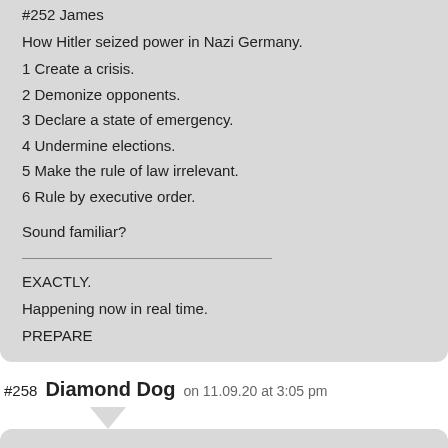#252 James
How Hitler seized power in Nazi Germany.
1 Create a crisis.
2 Demonize opponents.
3 Declare a state of emergency.
4 Undermine elections.
5 Make the rule of law irrelevant.
6 Rule by executive order.
Sound familiar?
EXACTLY.
Happening now in real time.
PREPARE
#258 Diamond Dog on 11.09.20 at 3:05 pm
After all of that… “loquacity”, what advice would I give to money